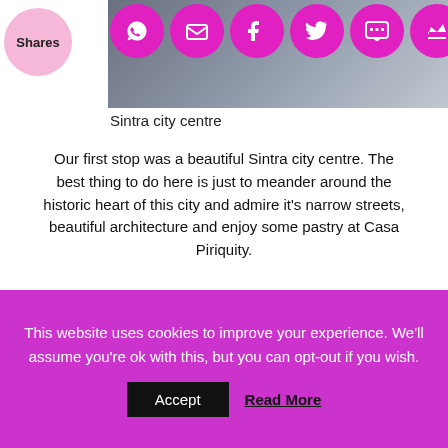[Figure (screenshot): Social sharing icons row: WhatsApp, email, Facebook, Twitter, SMS, crown — pink circles on photo background. Shares label on pink circle left.]
Sintra city centre
Our first stop was a beautiful Sintra city centre. The best thing to do here is just to meander around the historic heart of this city and admire it's narrow streets, beautiful architecture and enjoy some pastry at Casa Piriquity.
Moorish Castle (Castelo dos Mouros)
[Figure (photo): Photo of Moorish Castle battlements with a Portuguese flag flying on a tower against a cloudy sky.]
This website uses cookies to improve your experience. We'll assume you're ok with this, but you can opt-out if you wish.